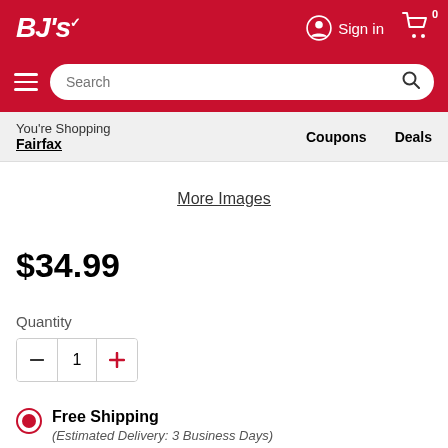BJ's Wholesale Club — Sign in, Search, Navigation
You're Shopping Fairfax
Coupons
Deals
More Images
$34.99
Quantity 1
Free Shipping
(Estimated Delivery: 3 Business Days)